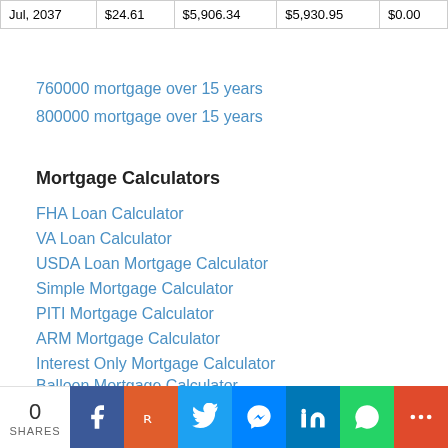| Jul, 2037 | $24.61 | $5,906.34 | $5,930.95 | $0.00 |
760000 mortgage over 15 years
800000 mortgage over 15 years
Mortgage Calculators
FHA Loan Calculator
VA Loan Calculator
USDA Loan Mortgage Calculator
Simple Mortgage Calculator
PITI Mortgage Calculator
ARM Mortgage Calculator
Interest Only Mortgage Calculator
Balloon Mortgage Calculator
Mortgage Points Calculator
Second Mortgage Calculator
0 SHARES | Facebook | Reddit | Twitter | Messenger | LinkedIn | WhatsApp | More